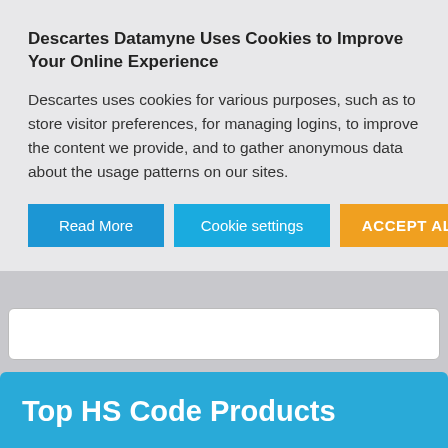Descartes Datamyne Uses Cookies to Improve Your Online Experience
Descartes uses cookies for various purposes, such as to store visitor preferences, for managing logins, to improve the content we provide, and to gather anonymous data about the usage patterns on our sites.
Read More
Cookie settings
ACCEPT ALL
Top HS Code Products
1. 190531 - Cookies (sweet Biscuits)
2. 190520 - Gingerbread And The Like